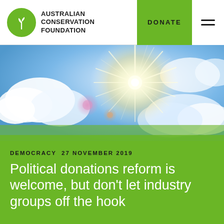AUSTRALIAN CONSERVATION FOUNDATION | DONATE
[Figure (photo): Bright sunburst shining through white clouds against a blue sky, with lens flare effects]
DEMOCRACY  27 NOVEMBER 2019
Political donations reform is welcome, but don’t let industry groups off the hook